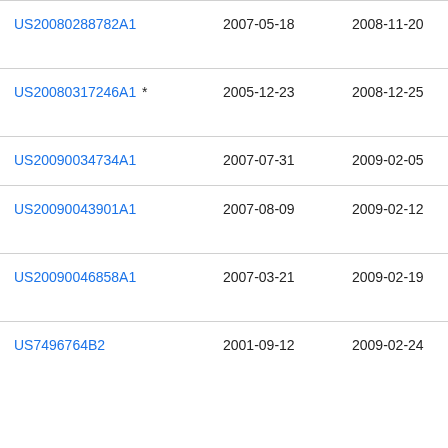| Patent | Filed | Publication date | Assignee |
| --- | --- | --- | --- |
| US20080288782A1 | 2007-05-18 | 2008-11-20 | Tec Pro |
| US20080317246A1 * | 2005-12-23 | 2008-12-25 | Kor Ele |
| US20090034734A1 | 2007-07-31 | 2009-02-05 | Via |
| US20090043901A1 | 2007-08-09 | 2009-02-12 | Luc Inc |
| US20090046858A1 | 2007-03-21 | 2009-02-19 | Tec Pro |
| US7496764B2 | 2001-09-12 | 2009-02-24 | Na |